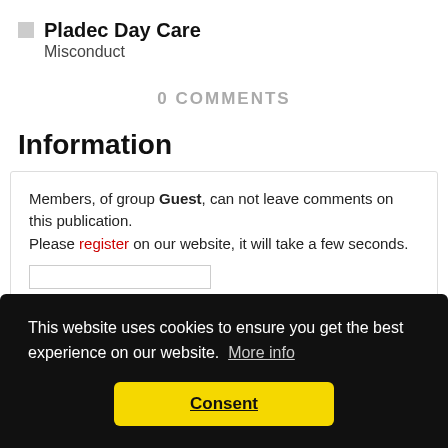Pladec Day Care
Misconduct
0 COMMENTS
Information
Members, of group Guest, can not leave comments on this publication.
Please register on our website, it will take a few seconds.
This website uses cookies to ensure you get the best experience on our website. More info
Consent